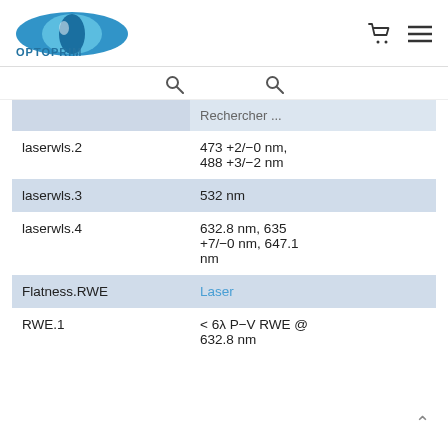OPTOPRIM
|  | Rechercher ... |
| --- | --- |
| laserwls.2 | 473 +2/−0 nm, 488 +3/−2 nm |
| laserwls.3 | 532 nm |
| laserwls.4 | 632.8 nm, 635 +7/−0 nm, 647.1 nm |
| Flatness.RWE | Laser |
| RWE.1 | < 6λ P−V RWE @ 632.8 nm |